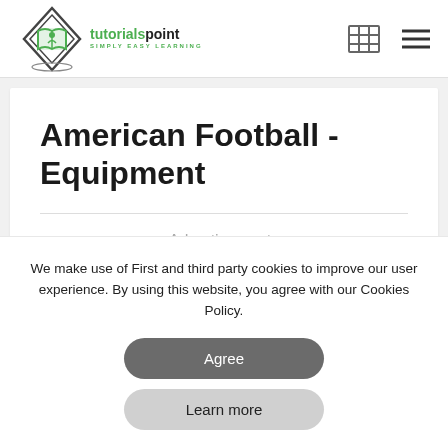tutorialspoint SIMPLY EASY LEARNING
American Football - Equipment
Advertisements
We make use of First and third party cookies to improve our user experience. By using this website, you agree with our Cookies Policy.
Agree
Learn more